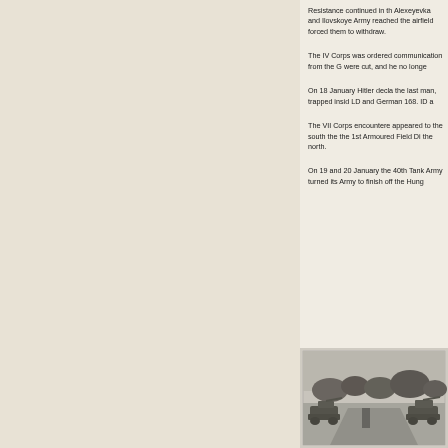Resistance continued in th... Alexeyevka and Ilovskoye... Army reached the airfield ... forced them to withdraw.
The IV Corps was ordered... communication from the G... were cut, and he no longe...
On 18 January Hitler decla... the last man, trapped insid... LD and German 168. ID a...
The VII Corps encountere... appeared to the south the... the 1st Armoured Field Di... the north.
On 19 and 20 January the... 40th Tank Army turned its... Army to finish off the Hung...
[Figure (photo): Black and white historical military photograph showing tanks or armored vehicles on a road with trees in the background.]